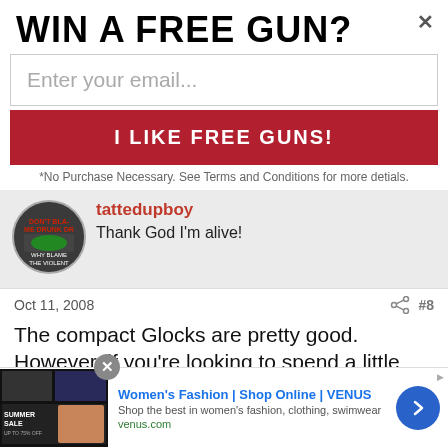WIN A FREE GUN?
Enter your email...
I LIKE FREE GUNS!
*No Purchase Necessary. See Terms and Conditions for more detials.
tattedupboy
Thank God I'm alive!
Oct 11, 2008
#8
The compact Glocks are pretty good. However, if you're looking to spend a little less, then you'll probably want to look at a Keltec, or even perhaps a derringer of some kind. If money is no obect, Seecamp and Rohrbaugh make some good pocket...
[Figure (screenshot): Bottom advertisement banner: Women's Fashion | Shop Online | VENUS, venus.com]